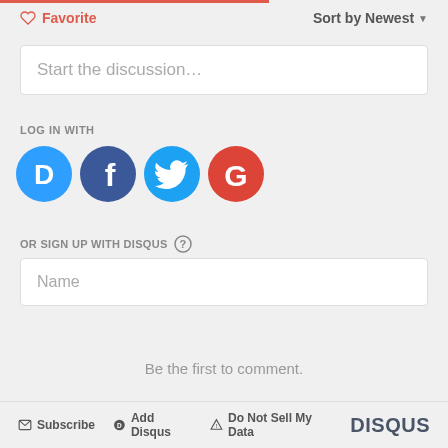[Figure (screenshot): Disqus comment widget interface with favorite button, sort dropdown, discussion input, social login icons, sign up form, and footer]
♡ Favorite
Sort by Newest ▾
Start the discussion…
LOG IN WITH
OR SIGN UP WITH DISQUS ?
Name
Be the first to comment.
✉ Subscribe  ⊙ Add Disqus  ⚠ Do Not Sell My Data  DISQUS